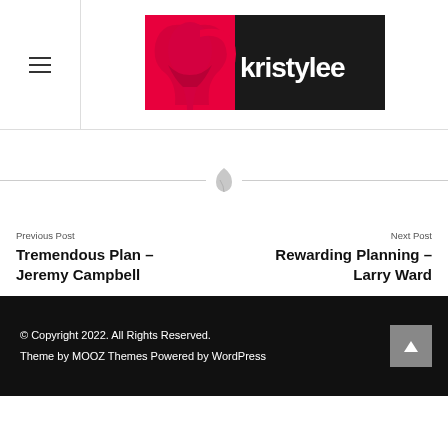[Figure (logo): Kristylee brand logo with silhouette of woman face in pink/red on black background and white text 'kristylee']
[Figure (other): Decorative leaf/feather divider icon in light gray]
Previous Post
Tremendous Plan – Jeremy Campbell
Next Post
Rewarding Planning – Larry Ward
© Copyright 2022. All Rights Reserved. Theme by MOOZ Themes Powered by WordPress